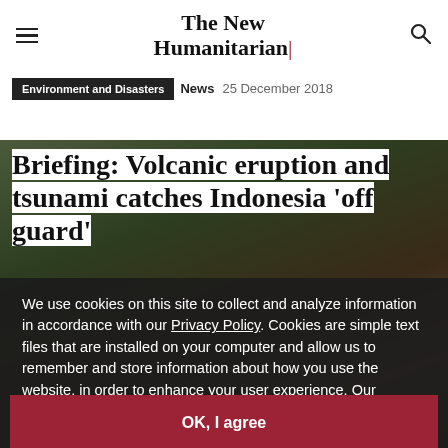The New Humanitarian
Environment and Disasters  News  25 December 2018
Briefing: Volcanic eruption and tsunami catches Indonesia 'off guard'
[Figure (photo): Debris and destruction from volcanic eruption and tsunami in Indonesia, people visible in background]
We use cookies on this site to collect and analyze information in accordance with our Privacy Policy. Cookies are simple text files that are installed on your computer and allow us to remember and store information about how you use the website, in order to enhance your user experience. Our Privacy Policy covers how we use data you may provide to us by visiting our website or registering as a subscriber. By continuing to use this website, you give your consent to our Privacy Policy and to our use of cookies.
OK, I agree